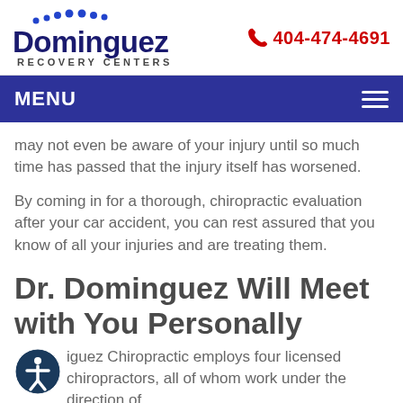[Figure (logo): Dominguez Recovery Centers logo with blue dots and dark blue text]
404-474-4691
MENU
may not even be aware of your injury until so much time has passed that the injury itself has worsened.
By coming in for a thorough, chiropractic evaluation after your car accident, you can rest assured that you know of all your injuries and are treating them.
Dr. Dominguez Will Meet with You Personally
Dominguez Chiropractic employs four licensed chiropractors, all of whom work under the direction of